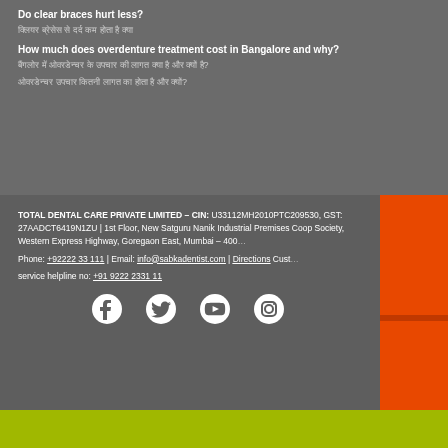Do clear braces hurt less?
क्लियर ब्रेसेस से दर्द कम होता है
How much does overdenture treatment cost in Bangalore and why?
बैंगलोर में ओवरडेन्चर उपचार की लागत कितनी है और क्यों?
ओवरडेन्चर उपचार क्या होता है और क्यों?
TOTAL DENTAL CARE PRIVATE LIMITED – CIN: U33112MH2010PTC209530, GST: 27AADCT6419N1ZU | 1st Floor, New Satguru Nanik Industrial Premises Coop Society, Western Express Highway, Goregaon East, Mumbai – 400... Phone: +92222 33 111 | Email: info@sabkadentist.com | Directions Customer service helpline no: +91 9222 2331 11
[Figure (other): Social media icons: Facebook, Twitter, YouTube, Instagram]